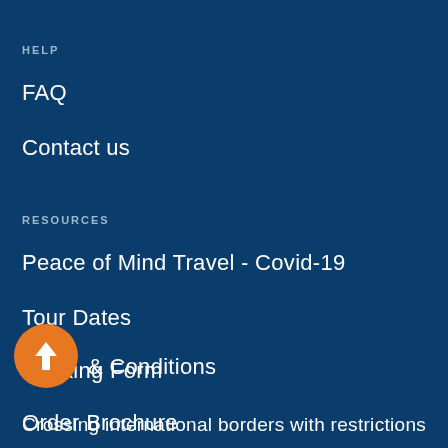HELP
FAQ
Contact us
RESOURCES
Peace of Mind Travel - Covid-19
Tour Dates
Booking Form
Order Brochure
[Figure (other): Orange circular button with upward arrow]
& Conditions
Crossing international borders with restrictions